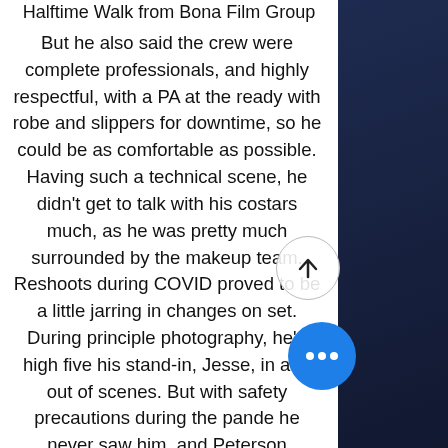Halftime Walk from Bona Film Group
But he also said the crew were complete professionals, and highly respectful, with a PA at the ready with robe and slippers for downtime, so he could be as comfortable as possible. Having such a technical scene, he didn't get to talk with his costars much, as he was pretty much surrounded by the makeup team. Reshoots during COVID proved to be a little jarring in changes on set. During principle photography, he'd high five his stand-in, Jesse, in and out of scenes. But with safety precautions during the pande he never saw him, and Peterson